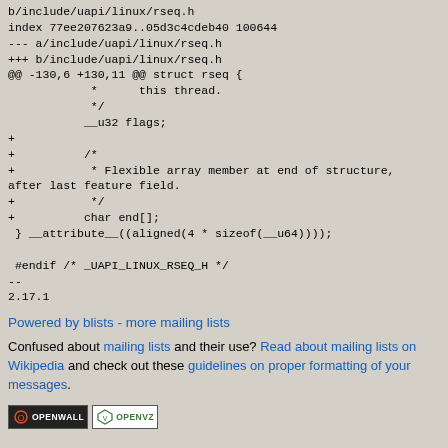b/include/uapi/linux/rseq.h
index 77ee207623a9..05d3c4cdeb40 100644
--- a/include/uapi/linux/rseq.h
+++ b/include/uapi/linux/rseq.h
@@ -130,6 +130,11 @@ struct rseq {
             *      this thread.
             */
            __u32 flags;
+
+           /*
+            * Flexible array member at end of structure, after last feature field.
+            */
+           char end[];
 } __attribute__((aligned(4 * sizeof(__u64))));

 #endif /* _UAPI_LINUX_RSEQ_H */
--
2.17.1
Powered by blists - more mailing lists
Confused about mailing lists and their use? Read about mailing lists on Wikipedia and check out these guidelines on proper formatting of your messages.
[Figure (logo): Openwall and OpenVZ badge logos]